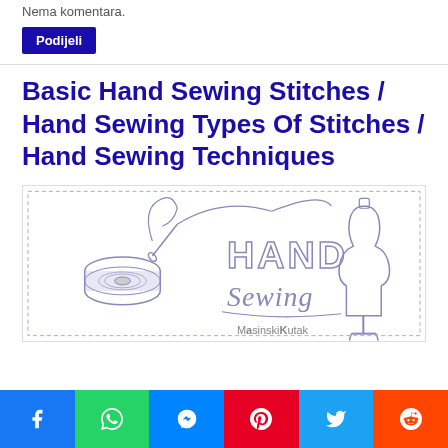Nema komentara.
Podijeli
Basic Hand Sewing Stitches / Hand Sewing Types Of Stitches / Hand Sewing Techniques
[Figure (illustration): Hand sewing themed illustration showing a thread spool with needle, stitched text reading 'HAND Sewing', a dress form/mannequin, and a needle drawing thread. Watermark: MasinskiKutak]
Facebook | WhatsApp | Messenger | Pinterest | Twitter | Reddit social share buttons